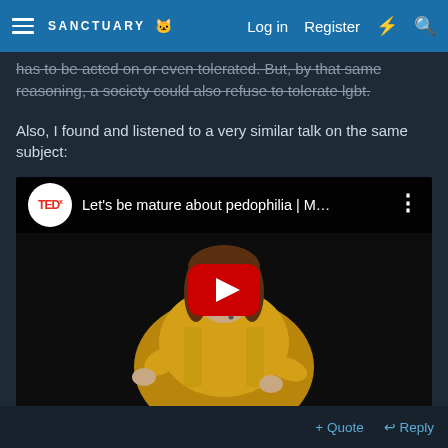SANCTUARY
has to be acted on or even tolerated. But, by that same reasoning, a society could also refuse to tolerate lgbt.
Also, I found and listened to a very similar talk on the same subject:
[Figure (screenshot): Embedded YouTube video thumbnail showing a TEDx talk titled 'Let's be mature about pedophilia | M...' with a woman in a yellow jacket speaking on stage. A red YouTube play button is visible in the center.]
+ Quote  Reply